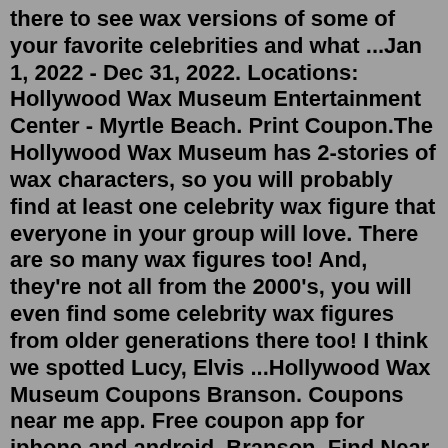there to see wax versions of some of your favorite celebrities and what ...Jan 1, 2022 - Dec 31, 2022. Locations: Hollywood Wax Museum Entertainment Center - Myrtle Beach. Print Coupon.The Hollywood Wax Museum has 2-stories of wax characters, so you will probably find at least one celebrity wax figure that everyone in your group will love. There are so many wax figures too! And, they're not all from the 2000's, you will even find some celebrity wax figures from older generations there too! I think we spotted Lucy, Elvis ...Hollywood Wax Museum Coupons Branson. Coupons near me app. Free coupon app for iphone and android. Branson. Find Near ... Near Me Eat Play Travel Shop Spa Coupons Events . Hollywood Wax Museum. Get Alerts Get Alerts More Information. location_on. 3030 W 76 Country Blvd Branson, MO 65616. phone. 417.337.8277. Hollywood Wax Museum Deals in ...The Hollywood Museum. Los Angeles 4.4 Page Museum - La Brea Tar Pits. Los Angeles 4.4 Madame Tussaud's. Los Angeles 4.4 Hollywood Wax Museum. Los Angeles 4.6 Museum of